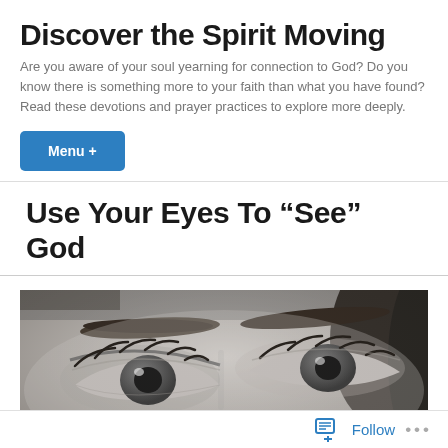Discover the Spirit Moving
Are you aware of your soul yearning for connection to God? Do you know there is something more to your faith than what you have found? Read these devotions and prayer practices to explore more deeply.
Menu +
Use Your Eyes To “See” God
[Figure (photo): Black and white close-up photo of a woman's eyes and eyebrows, looking slightly upward.]
Follow ...